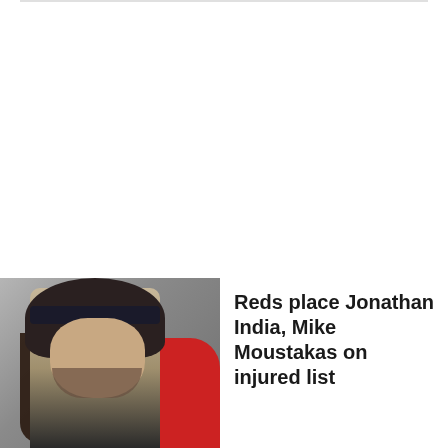[Figure (photo): Photo of a man with long dark hair, wearing a dark headband and facing slightly to the right. A red jacket is visible in the background.]
Reds place Jonathan India, Mike Moustakas on injured list